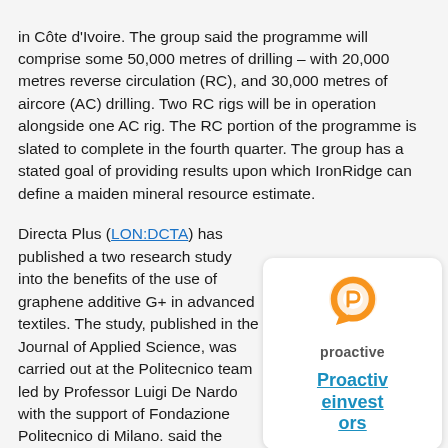in Côte d'Ivoire. The group said the programme will comprise some 50,000 metres of drilling – with 20,000 metres reverse circulation (RC), and 30,000 metres of aircore (AC) drilling. Two RC rigs will be in operation alongside one AC rig. The RC portion of the programme is slated to complete in the fourth quarter. The group has a stated goal of providing results upon which IronRidge can define a maiden mineral resource estimate.
Directa Plus (LON:DCTA) has published a two research study into the benefits of the use of graphene additive G+ in advanced textiles. The study, published in the Journal of Applied Science, was carried out at the Politecnico team led by Professor Luigi De Nardo with the support of Fondazione Politecnico di Milano. said the findings confirmed that: G+ graphene nanoplatelets (GNPs) comply with ISO/TS 80004-13:2017
[Figure (logo): Proactive Investors logo — orange hexagon/ring icon above the text 'proactive' and a link reading 'Proactiveinvestors']